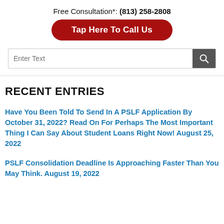Free Consultation*: (813) 258-2808
Tap Here To Call Us
RECENT ENTRIES
Have You Been Told To Send In A PSLF Application By October 31, 2022? Read On For Perhaps The Most Important Thing I Can Say About Student Loans Right Now! August 25, 2022
PSLF Consolidation Deadline Is Approaching Faster Than You May Think. August 19, 2022